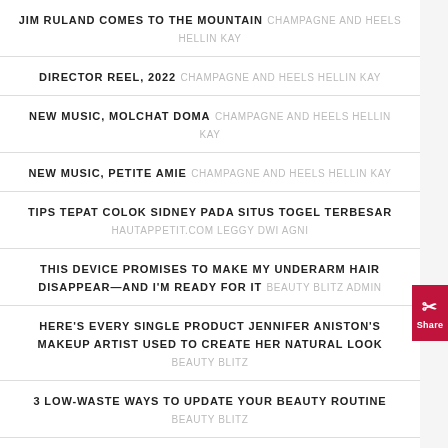JIM RULAND COMES TO THE MOUNTAIN CHAMPAGNE AND HEELS HELLIN KAY
DIRECTOR REEL, 2022 CHAMPAGNE AND HEELS HELLIN KAY
NEW MUSIC, MOLCHAT DOMA CHAMPAGNE AND HEELS HELLIN KAY
NEW MUSIC, PETITE AMIE CHAMPAGNE AND HEELS HELLIN KAY
TIPS TEPAT COLOK SIDNEY PADA SITUS TOGEL TERBESAR HAUTAPPETIT.COM LEGGY DWI AGNI
THIS DEVICE PROMISES TO MAKE MY UNDERARM HAIR DISAPPEAR—AND I'M READY FOR IT BEAUTY BLITZ ADMIN
HERE'S EVERY SINGLE PRODUCT JENNIFER ANISTON'S MAKEUP ARTIST USED TO CREATE HER NATURAL LOOK BEAUTY BLITZ
3 LOW-WASTE WAYS TO UPDATE YOUR BEAUTY ROUTINE BEAUTY BLITZ